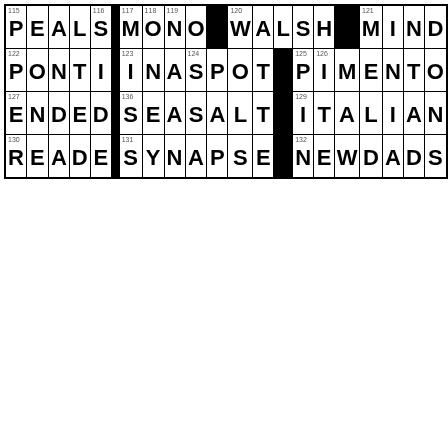[Figure (other): Crossword puzzle grid showing 4 rows and columns of white and black squares. Row 1: 115 P, E, A, L, S, BLACK, 117 M, O, N, O, BLACK, 120 W, A, L, S, H, BLACK, 121 M, I, N, D. Row 2: 122 P, O, N, T, I, BLACK, 123 I, N, A, 124 S, P, O, T, BLACK, 125 P, 126 I, M, E, N, T, O. Row 3: 127 E, N, D, E, D, BLACK, 136 S, E, A, S, A, L, T, BLACK, 129 I, T, A, L, I, A, N. Row 4: 130 R, E, A, D, E, BLACK, 131 S, Y, N, A, P, S, E, BLACK, 132 N, E, W, D, A, D, S.]